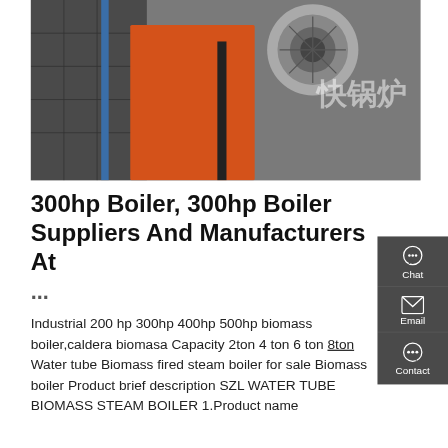[Figure (photo): Industrial boiler machinery photo with orange equipment and Chinese text characters visible]
300hp Boiler, 300hp Boiler Suppliers And Manufacturers At ...
Industrial 200 hp 300hp 400hp 500hp biomass boiler,caldera biomasa Capacity 2ton 4 ton 6 ton 8ton Water tube Biomass fired steam boiler for sale Biomass boiler Product brief description SZL WATER TUBE BIOMASS STEAM BOILER 1.Product name
[Figure (infographic): Dark grey side panel with Chat, Email, and Contact icons]
[Figure (photo): Bottom strip showing industrial boiler tubes in dark grey and yellow colors]
GET A QUOTE
Get a Quote
WhatsApp